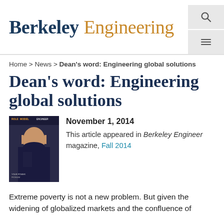Berkeley Engineering
Home > News > Dean's word: Engineering global solutions
Dean's word: Engineering global solutions
November 1, 2014
[Figure (photo): Cover of Berkeley Engineer magazine, Fall 2014, showing a woman holding a device]
This article appeared in Berkeley Engineer magazine, Fall 2014
Extreme poverty is not a new problem. But given the widening of globalized markets and the confluence of